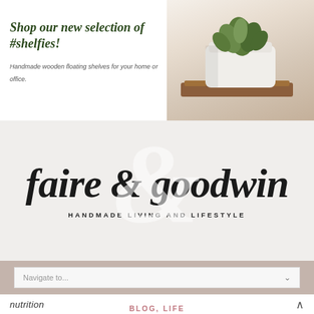[Figure (photo): Banner ad with a succulent plant in a white geometric pot on a wood tray, with dark green handwritten script headline and italic subtitle text on white background.]
Shop our new selection of #shelfies!
Handmade wooden floating shelves for your home or office.
faire & goodwin
HANDMADE LIVING AND LIFESTYLE
Navigate to...
nutrition
BLOG, LIFE